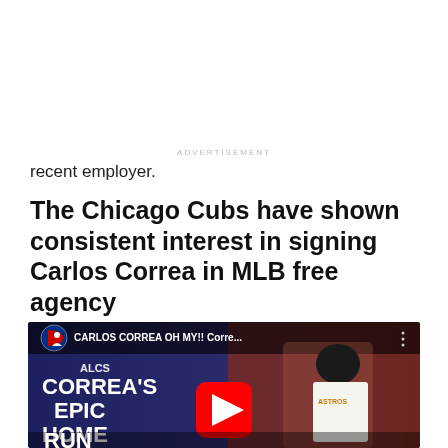recent employer.
The Chicago Cubs have shown consistent interest in signing Carlos Correa in MLB free agency
[Figure (screenshot): YouTube video thumbnail showing Carlos Correa's Epic Home Run, with MLB logo, video title 'CARLOS CORREA OH MY!! Corre...' and YouTube play button overlay. Player in Astros uniform visible on right side.]